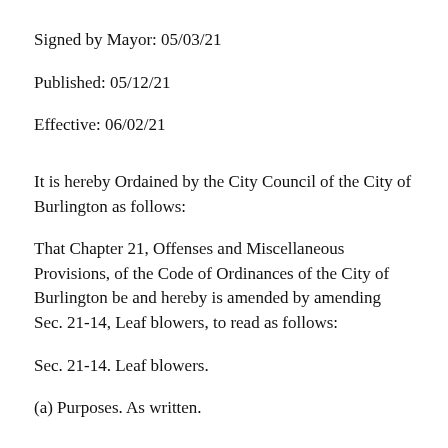Signed by Mayor: 05/03/21
Published: 05/12/21
Effective: 06/02/21
It is hereby Ordained by the City Council of the City of Burlington as follows:
That Chapter 21, Offenses and Miscellaneous Provisions, of the Code of Ordinances of the City of Burlington be and hereby is amended by amending Sec. 21-14, Leaf blowers, to read as follows:
Sec. 21-14. Leaf blowers.
(a) Purposes. As written.